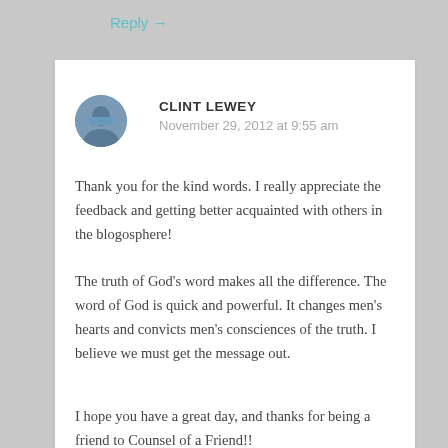Reply →
CLINT LEWEY
November 29, 2012 at 9:55 am
Thank you for the kind words. I really appreciate the feedback and getting better acquainted with others in the blogosphere!
The truth of God's word makes all the difference. The word of God is quick and powerful. It changes men's hearts and convicts men's consciences of the truth. I believe we must get the message out.
I hope you have a great day, and thanks for being a friend to Counsel of a Friend!!